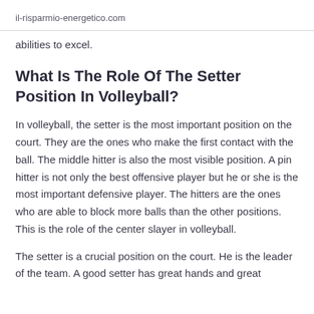il-risparmio-energetico.com
abilities to excel.
What Is The Role Of The Setter Position In Volleyball?
In volleyball, the setter is the most important position on the court. They are the ones who make the first contact with the ball. The middle hitter is also the most visible position. A pin hitter is not only the best offensive player but he or she is the most important defensive player. The hitters are the ones who are able to block more balls than the other positions. This is the role of the center slayer in volleyball.
The setter is a crucial position on the court. He is the leader of the team. A good setter has great hands and great